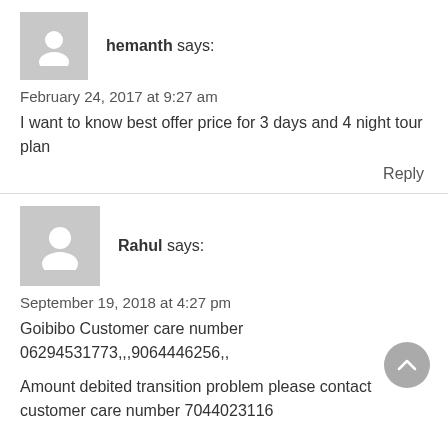hemanth says:
February 24, 2017 at 9:27 am
I want to know best offer price for 3 days and 4 night tour plan
Reply
Rahul says:
September 19, 2018 at 4:27 pm
Goibibo Customer care number 06294531773,,,9064446256,,
Amount debited transition problem please contact customer care number 7044023116